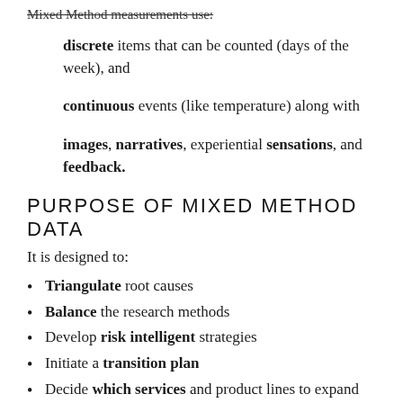Mixed Method measurements use:
discrete items that can be counted (days of the week), and
continuous events (like temperature) along with
images, narratives, experiential sensations, and feedback.
PURPOSE OF MIXED METHOD DATA
It is designed to:
Triangulate root causes
Balance the research methods
Develop risk intelligent strategies
Initiate a transition plan
Decide which services and product lines to expand